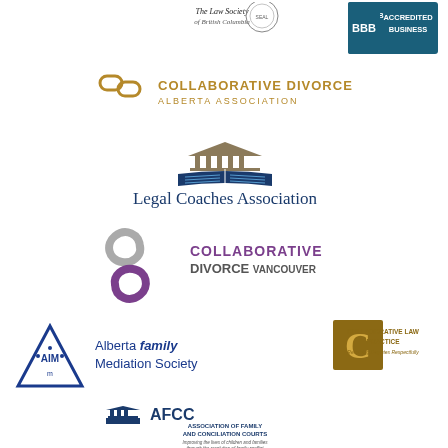[Figure (logo): The Law Society of British Columbia logo with circular seal]
[Figure (logo): BBB Accredited Business logo in teal/dark blue]
[Figure (logo): Collaborative Divorce Alberta Association logo with gold chain-link icon]
[Figure (logo): Legal Coaches Association logo with courthouse/book icon]
[Figure (logo): Collaborative Divorce Vancouver logo with purple/grey swirl]
[Figure (logo): Alberta Family Mediation Society logo with blue triangle AIM icon]
[Figure (logo): Collaborative Law Practice logo with gold C on brown square]
[Figure (logo): AFCC Association of Family and Conciliation Courts logo]